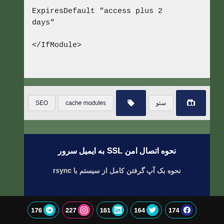ExpiresDefault "access plus 2 days"

</IfModule>
SEO
cache modules
نحوه اتصال امن SSL به ایمیل سرور
نحوه بک آپ گرفتن کامل از سیستم با rsync
176 Telegram | 227 Instagram | 161 LinkedIn | 164 Twitter | 174 Facebook